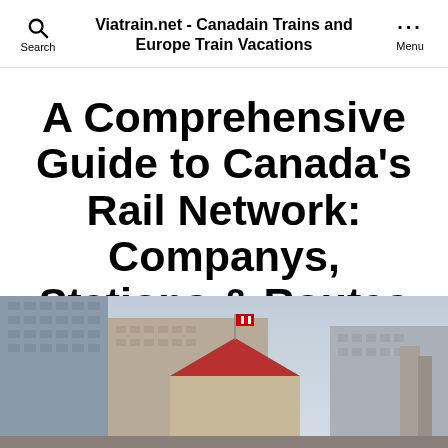Viatrain.net - Canadain Trains and Europe Train Vacations
A Comprehensive Guide to Canada’s Rail Network: Companys, Stations & Routes
[Figure (photo): Exterior photograph of a Canadian train station with a red peaked roof and Canadian flag flying above it, surrounded by office buildings in the background. Sky is light blue/grey.]